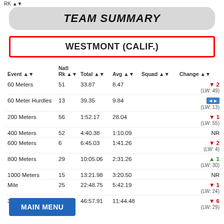RK ▲▼
TEAM SUMMARY
WESTMONT (CALIF.)
| Event ▲▼ | Natl Rk ▲▼ | Total ▲▼ | Avg ▲▼ | Squad ▲▼ | Change ▲▼ |
| --- | --- | --- | --- | --- | --- |
| 60 Meters | 51 | 33.87 | 8.47 |  | ▼ 2 (LW: 49) |
| 60 Meter Hurdles | 13 | 39.35 | 9.84 |  | ◄► (LW: 13) |
| 200 Meters | 56 | 1:52.17 | 28.04 |  | ▼ 1 (LW: 55) |
| 400 Meters | 52 | 4:40.38 | 1:10.09 |  | NR |
| 600 Meters | 6 | 6:45.03 | 1:41.26 |  | ▼ 2 (LW: 4) |
| 800 Meters | 29 | 10:05.06 | 2:31.26 |  | ▲ 1 (LW: 30) |
| 1000 Meters | 15 | 13:21.98 | 3:20.50 |  | NR |
| Mile | 25 | 22:48.75 | 5:42.19 |  | ▼ 1 (LW: 24) |
| 3 [Miles] | ... | 46:57.91 | 11:44.48 |  | ▼ 6 (LW: 29) |
MAIN MENU